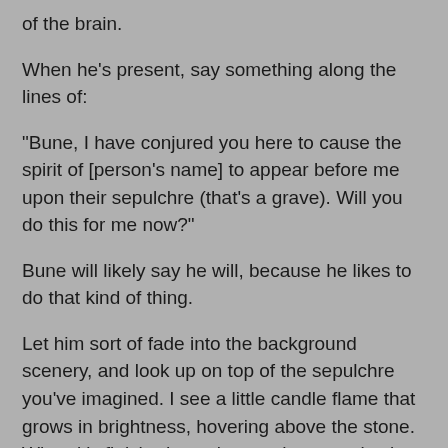of the brain.
When he's present, say something along the lines of:
"Bune, I have conjured you here to cause the spirit of [person's name] to appear before me upon their sepulchre (that's a grave). Will you do this for me now?"
Bune will likely say he will, because he likes to do that kind of thing.
Let him sort of fade into the background scenery, and look up on top of the sepulchre you've imagined. I see a little candle flame that grows in brightness, hovering above the stone. When it's finished growing to whatever size it grows to, begin speaking to the spirit. "Are you [name]?" is a good place to start. If you're a Christian, have it say "Jesus is Lord" to affirm it is who it says it is. Thelemites have success making the spirits say something out of the Book of the Law; Jews may have success having it swear by Tetragrammaton that it is who it claims to be. You can try banishing pentagrams, but I think they're hokey, and you'd likely banish